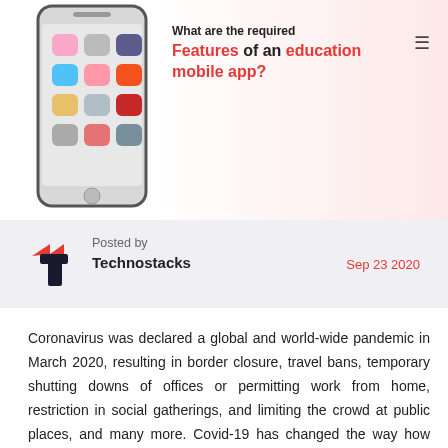[Figure (illustration): Website article hero image showing a smartphone with app icons on a pink gradient background, with bold title text: 'What are the required Features of an education mobile app?']
Posted by
Technostacks
Sep 23 2020
Coronavirus was declared a global and world-wide pandemic in March 2020, resulting in border closure, travel bans, temporary shutting downs of offices or permitting work from home, restriction in social gatherings, and limiting the crowd at public places, and many more. Covid-19 has changed the way how things